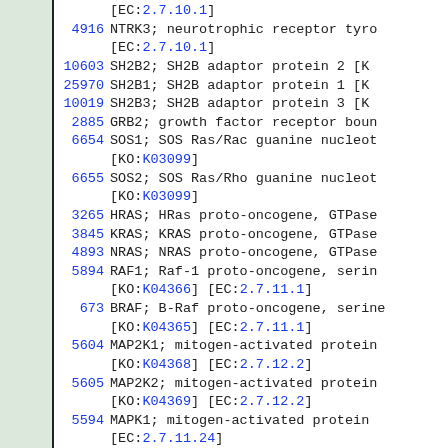[EC:2.7.10.1]
4916  NTRK3; neurotrophic receptor tyro [EC:2.7.10.1]
10603  SH2B2; SH2B adaptor protein 2 [K
25970  SH2B1; SH2B adaptor protein 1 [K
10019  SH2B3; SH2B adaptor protein 3 [K
2885  GRB2; growth factor receptor boun
6654  SOS1; SOS Ras/Rac guanine nucleot [KO:K03099]
6655  SOS2; SOS Ras/Rho guanine nucleot [KO:K03099]
3265  HRAS; HRas proto-oncogene, GTPase
3845  KRAS; KRAS proto-oncogene, GTPase
4893  NRAS; NRAS proto-oncogene, GTPase
5894  RAF1; Raf-1 proto-oncogene, serin [KO:K04366] [EC:2.7.11.1]
673  BRAF; B-Raf proto-oncogene, serine [KO:K04365] [EC:2.7.11.1]
5604  MAP2K1; mitogen-activated protein [KO:K04368] [EC:2.7.12.2]
5605  MAP2K2; mitogen-activated protein [KO:K04369] [EC:2.7.12.2]
5594  MAPK1; mitogen-activated protein [EC:2.7.11.24]
5595  MAPK3; mitogen-activated protein [EC:2.7.11.24]